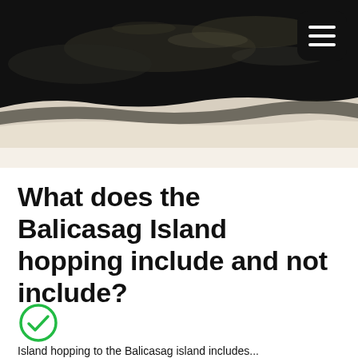[Figure (photo): Aerial or elevated view of a dark rocky/coral shoreline meeting a white sandy beach, with water visible. A hamburger menu button (black rounded square with three white horizontal lines) is overlaid in the top-right corner.]
What does the Balicasag Island hopping include and not include?
[Figure (other): Green circle checkmark icon]
Island hopping to Balicasag Island includes...